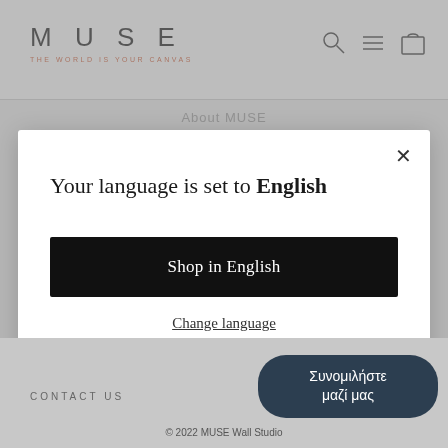MUSE — THE WORLD IS YOUR CANVAS
About MUSE
[Figure (screenshot): Language selection modal dialog on MUSE Wall Studio website with close button, title 'Your language is set to English', a black 'Shop in English' button, and a 'Change language' underlined link]
Your language is set to English
Shop in English
Change language
CONTACT US   © 2022 MUSE Wall Studio